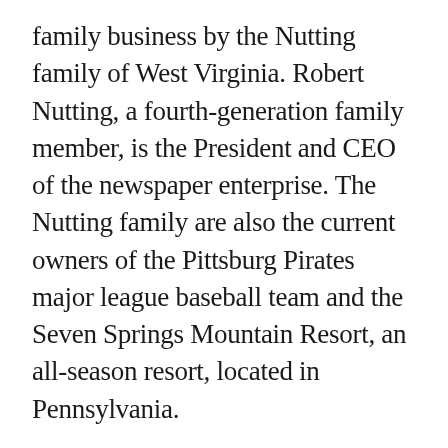family business by the Nutting family of West Virginia. Robert Nutting, a fourth-generation family member, is the President and CEO of the newspaper enterprise. The Nutting family are also the current owners of the Pittsburg Pirates major league baseball team and the Seven Springs Mountain Resort, an all-season resort, located in Pennsylvania.
In a statement released on January 29th, Robert Nutting said:“We’re extremely proud to be the prospective publisher of the Charleston Gazette-Mail. We have a high level of respect for the newspaper’s proud heritage and realize it has served for many years as an extremely